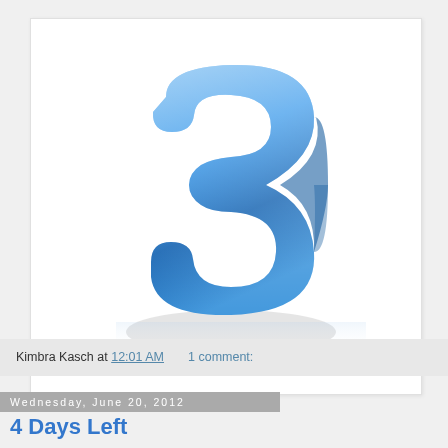[Figure (illustration): A 3D glossy blue number 3 standing on a white/light gray reflective surface, photographed from a slight angle]
Kimbra Kasch at 12:01 AM    1 comment:
Wednesday, June 20, 2012
4 Days Left